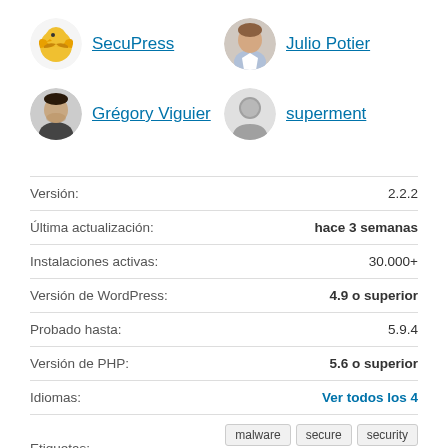[Figure (logo): SecuPress logo - yellow eagle icon]
SecuPress
[Figure (photo): Julio Potier avatar photo]
Julio Potier
[Figure (photo): Grégory Viguier avatar photo]
Grégory Viguier
[Figure (illustration): superment generic avatar icon]
superment
| Versión: | 2.2.2 |
| Última actualización: | hace 3 semanas |
| Instalaciones activas: | 30.000+ |
| Versión de WordPress: | 4.9 o superior |
| Probado hasta: | 5.9.4 |
| Versión de PHP: | 5.6 o superior |
| Idiomas: | Ver todos los 4 |
| Etiquetas: | malware  secure  security  security plugin  wordpress security |